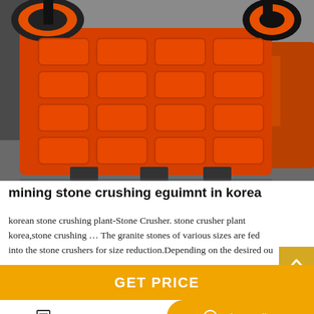[Figure (photo): Orange jaw crusher / stone crushing machine photographed from the front, showing the heavy orange gridded steel frame structure with crusher mechanism and belt drive visible at top. Secondary orange machine visible at right. Industrial outdoor setting with gray concrete ground.]
mining stone crushing eguimnt in korea
korean stone crushing plant-Stone Crusher. stone crusher plant korea,stone crushing … The granite stones of various sizes are fed into the stone crushers for size reduction.Depending on the desired ou
GET PRICE
Leave Message
Chat Online